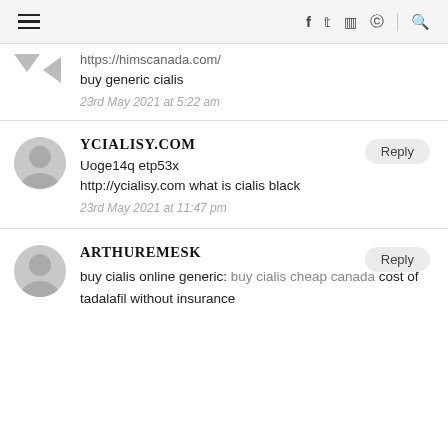Navigation header with hamburger menu, social icons (f, twitter, instagram, pinterest), and search icon
https://himscanada.com/
buy generic cialis
23rd May 2021 at 5:22 am
YCIALISY.COM
Uoge14q etp53x
http://ycialisy.com what is cialis black
23rd May 2021 at 11:47 pm
ARTHUREMESK
buy cialis online generic: buy cialis cheap canada cost of tadalafil without insurance